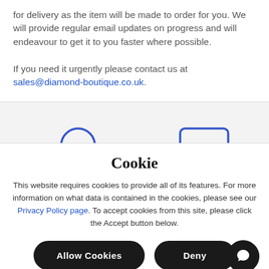for delivery as the item will be made to order for you. We will provide regular email updates on progress and will endeavour to get it to you faster where possible.

If you need it urgently please contact us at sales@diamond-boutique.co.uk.
[Figure (screenshot): Gray bar with two partially visible UI elements (a circular button and a rectangular button) at the bottom edge]
Cookie
This website requires cookies to provide all of its features. For more information on what data is contained in the cookies, please see our Privacy Policy page. To accept cookies from this site, please click the Accept button below.
[Figure (other): Two dark rounded buttons labeled 'Allow Cookies' and 'Deny', plus a circular chat icon button in the bottom right corner]